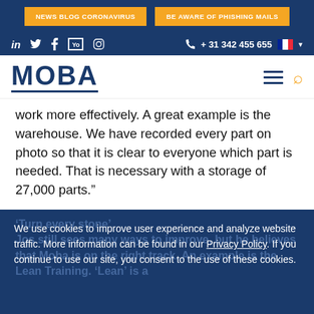NEWS BLOG CORONAVIRUS | BE AWARE OF PHISHING MAILS
in [twitter] [facebook] [youtube] [instagram]  + 31 342 455 655 [FR flag]
MOBA [hamburger menu] [search]
work more effectively. A great example is the warehouse. We have recorded every part on photo so that it is clear to everyone which part is needed. That is necessary with a storage of 27,000 parts.”
We use cookies to improve user experience and analyze website traffic. More information can be found in our Privacy Policy. If you continue to use our site, you consent to the use of these cookies.
‘Turn every stone’ Jos still sees many ways to improve, but he believes that Moba is on the right track. An example is the Lean Training. ‘Lean’ is a
[facebook] [twitter] [instagram] [linkedin]